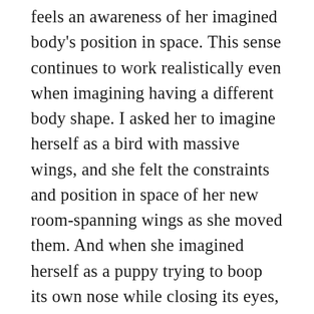feels an awareness of her imagined body's position in space. This sense continues to work realistically even when imagining having a different body shape. I asked her to imagine herself as a bird with massive wings, and she felt the constraints and position in space of her new room-spanning wings as she moved them. And when she imagined herself as a puppy trying to boop its own nose while closing its eyes, she worried about her dog nails scratching herself as her paws got closer. This awareness of the position of her mental body in mental space felt true to life without having to see herself in her imagination.